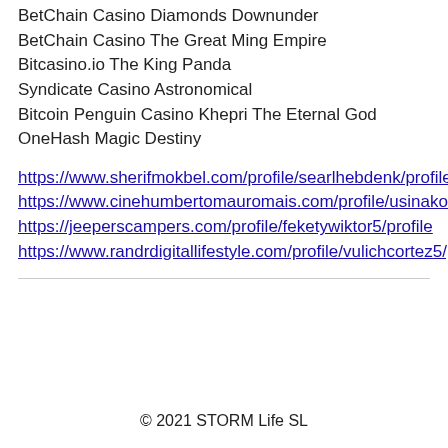BetChain Casino Diamonds Downunder
BetChain Casino The Great Ming Empire
Bitcasino.io The King Panda
Syndicate Casino Astronomical
Bitcoin Penguin Casino Khepri The Eternal God
OneHash Magic Destiny
https://www.sherifmokbel.com/profile/searlhebdenk/profile
https://www.cinehumbertomauromais.com/profile/usinakonkles/profile
https://jeeperscampers.com/profile/feketywiktor5/profile
https://www.randrdigitallifestyle.com/profile/vulichcortez5/profile
© 2021 STORM Life SL